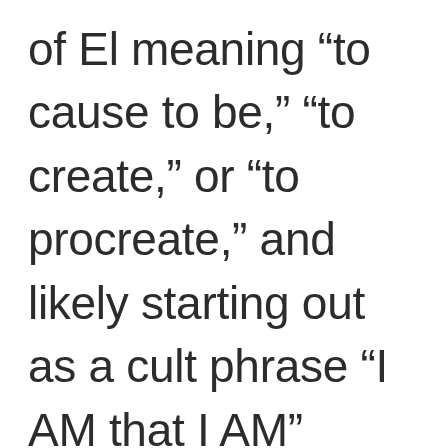of El meaning “to cause to be,” “to create,” or “to procreate,” and likely starting out as a cult phrase “I AM that I AM”